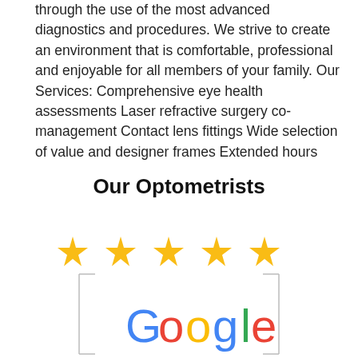through the use of the most advanced diagnostics and procedures. We strive to create an environment that is comfortable, professional and enjoyable for all members of your family. Our Services: Comprehensive eye health assessments Laser refractive surgery co-management Contact lens fittings Wide selection of value and designer frames Extended hours
Our Optometrists
[Figure (infographic): Five gold stars above a Google logo inside a light gray rounded rectangle border, indicating a 5-star Google review rating.]